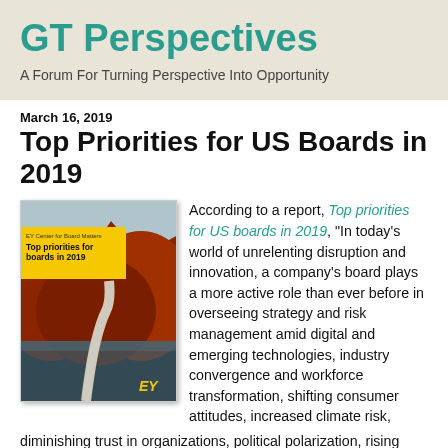GT Perspectives
A Forum For Turning Perspective Into Opportunity
March 16, 2019
Top Priorities for US Boards in 2019
[Figure (illustration): Book cover titled 'Top priorities for boards in 2019' with EY branding, showing a road through red/autumn landscape with mountains]
According to a report, Top priorities for US boards in 2019, "In today's world of unrelenting disruption and innovation, a company's board plays a more active role than ever before in overseeing strategy and risk management amid digital and emerging technologies, industry convergence and workforce transformation, shifting consumer attitudes, increased climate risk, diminishing trust in organizations, political polarization, rising